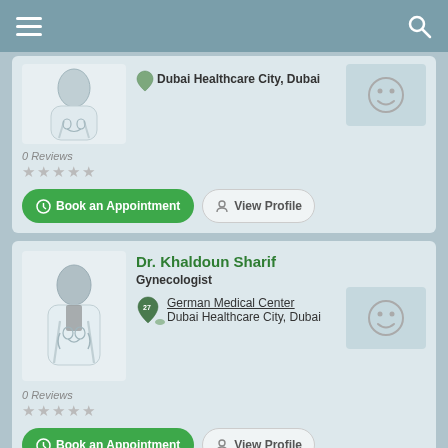[Figure (illustration): Doctor silhouette placeholder image for first card]
Dubai Healthcare City, Dubai
[Figure (illustration): Smiley face icon in gray box]
0 Reviews
★★★★★
Book an Appointment
View Profile
Dr. Khaldoun Sharif
Gynecologist
German Medical Center
Dubai Healthcare City, Dubai
[Figure (illustration): Smiley face icon in gray box]
0 Reviews
★★★★★
Book an Appointment
View Profile